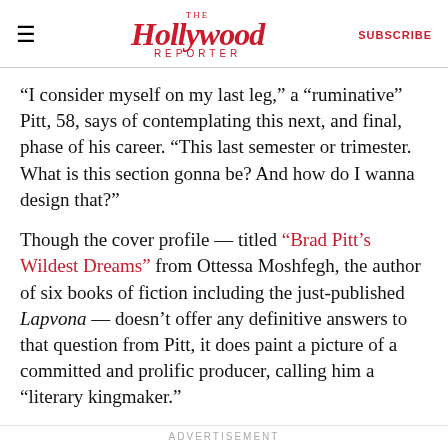The Hollywood Reporter | SUBSCRIBE
“I consider myself on my last leg,” a “ruminative” Pitt, 58, says of contemplating this next, and final, phase of his career. “This last semester or trimester. What is this section gonna be? And how do I wanna design that?”
Though the cover profile — titled “Brad Pitt’s Wildest Dreams” from Ottessa Moshfegh, the author of six books of fiction including the just-published Lapvona — doesn’t offer any definitive answers to that question from Pitt, it does paint a picture of a committed and prolific producer, calling him a “literary kingmaker.”
ADVERTISEMENT